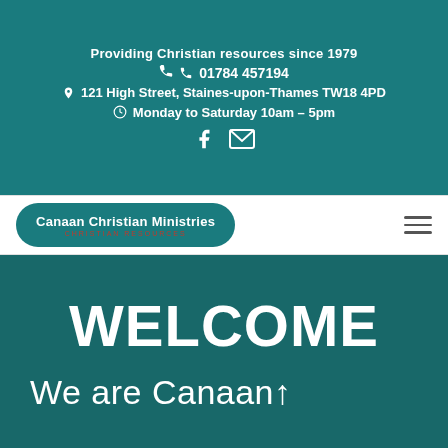Providing Christian resources since 1979
01784 457194
121 High Street, Staines-upon-Thames TW18 4PD
Monday to Saturday 10am – 5pm
[Figure (logo): Facebook and email icons]
[Figure (logo): Canaan Christian Ministries logo pill with text CHRISTIAN RESOURCES]
[Figure (infographic): Hamburger menu icon with three horizontal lines]
WELCOME
We are Canaan↑